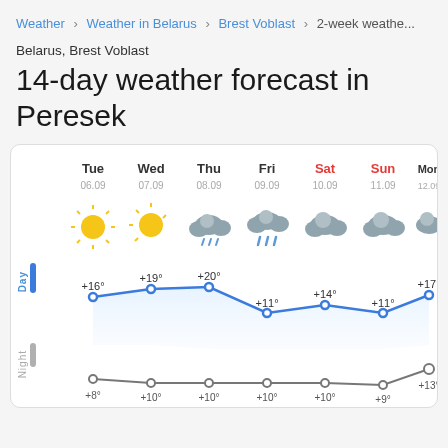Weather > Weather in Belarus > Brest Voblast > 2-week weather
Belarus, Brest Voblast
14-day weather forecast in Peresek
[Figure (line-chart): 14-day temperature forecast]